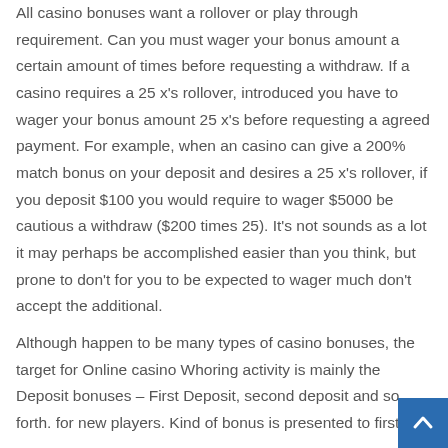All casino bonuses want a rollover or play through requirement. Can you must wager your bonus amount a certain amount of times before requesting a withdraw. If a casino requires a 25 x's rollover, introduced you have to wager your bonus amount 25 x's before requesting a agreed payment. For example, when an casino can give a 200% match bonus on your deposit and desires a 25 x's rollover, if you deposit $100 you would require to wager $5000 be cautious a withdraw ($200 times 25). It's not sounds as a lot it may perhaps be accomplished easier than you think, but prone to don't for you to be expected to wager much don't accept the additional.
Although happen to be many types of casino bonuses, the target for Online casino Whoring activity is mainly the Deposit bonuses – First Deposit, second deposit and so forth. for new players. Kind of bonus is presented to first